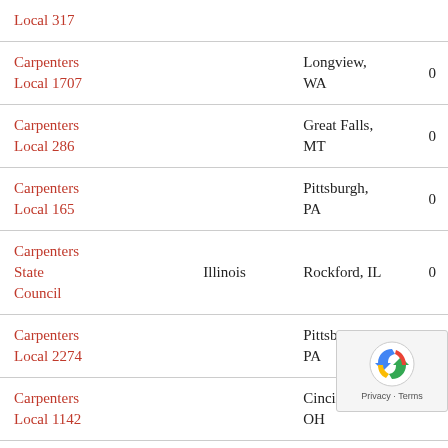| Name | Affiliate | Location | Amount |
| --- | --- | --- | --- |
| Local 317 |  |  |  |
| Carpenters Local 1707 |  | Longview, WA | 0 |
| Carpenters Local 286 |  | Great Falls, MT | 0 |
| Carpenters Local 165 |  | Pittsburgh, PA | 0 |
| Carpenters State Council | Illinois | Rockford, IL | 0 |
| Carpenters Local 2274 |  | Pittsburgh, PA | 0 |
| Carpenters Local 1142 |  | Cincinnati, OH |  |
| Carpenters |  | Pittsburgh, PA | 0 |